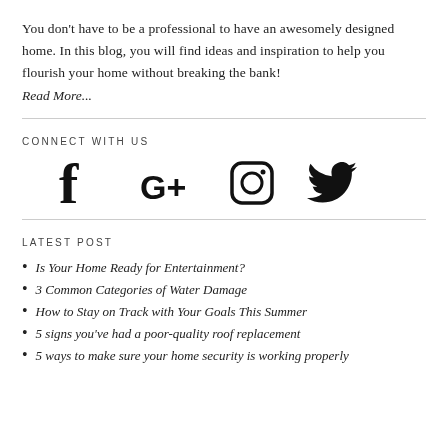You don't have to be a professional to have an awesomely designed home. In this blog, you will find ideas and inspiration to help you flourish your home without breaking the bank! Read More...
CONNECT WITH US
[Figure (infographic): Four social media icons displayed in a row: Facebook (f), Google+ (G+), Instagram (camera outline), Twitter (bird)]
LATEST POST
Is Your Home Ready for Entertainment?
3 Common Categories of Water Damage
How to Stay on Track with Your Goals This Summer
5 signs you've had a poor-quality roof replacement
5 ways to make sure your home security is working properly